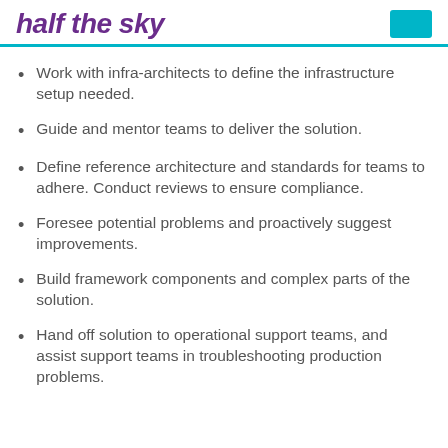half the sky
Work with infra-architects to define the infrastructure setup needed.
Guide and mentor teams to deliver the solution.
Define reference architecture and standards for teams to adhere. Conduct reviews to ensure compliance.
Foresee potential problems and proactively suggest improvements.
Build framework components and complex parts of the solution.
Hand off solution to operational support teams, and assist support teams in troubleshooting production problems.